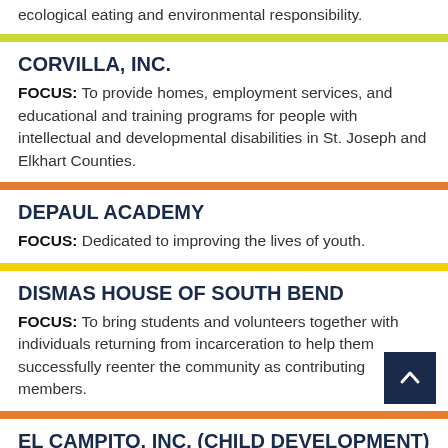ecological eating and environmental responsibility.
CORVILLA, INC.
FOCUS: To provide homes, employment services, and educational and training programs for people with intellectual and developmental disabilities in St. Joseph and Elkhart Counties.
DEPAUL ACADEMY
FOCUS: Dedicated to improving the lives of youth.
DISMAS HOUSE OF SOUTH BEND
FOCUS: To bring students and volunteers together with individuals returning from incarceration to help them successfully reenter the community as contributing members.
EL CAMPITO, INC. (CHILD DEVELOPMENT)
FOCUS: To promote the educational, social, and economic success of culturally diverse children and families by providing high quality child care and parent programs to those most in need.